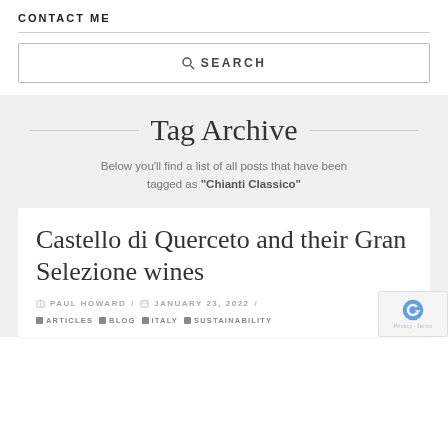CONTACT ME
[Figure (screenshot): Search box with magnifying glass icon and text SEARCH]
Tag Archive
Below you'll find a list of all posts that have been tagged as "Chianti Classico"
Castello di Querceto and their Gran Selezione wines
PAUL HOWARD / JANUARY 23, 2022 /
ARTICLES BLOG ITALY SUSTAINABILITY